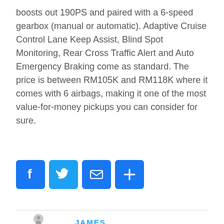boosts out 190PS and paired with a 6-speed gearbox (manual or automatic). Adaptive Cruise Control Lane Keep Assist, Blind Spot Monitoring, Rear Cross Traffic Alert and Auto Emergency Braking come as standard. The price is between RM105K and RM118K where it comes with 6 airbags, making it one of the most value-for-money pickups you can consider for sure.
[Figure (infographic): Social sharing buttons: Facebook (blue), Twitter (light blue), Email (blue), More/Plus (blue)]
[Figure (illustration): Author avatar placeholder: grey circular silhouette of a person]
JAMES